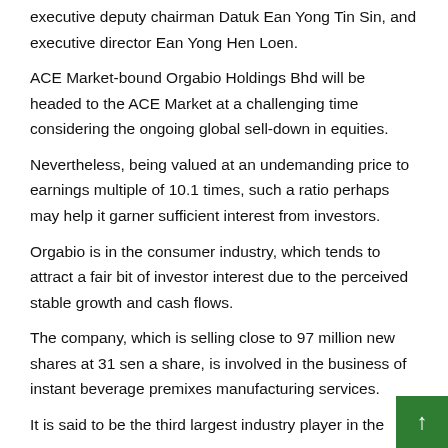executive deputy chairman Datuk Ean Yong Tin Sin, and executive director Ean Yong Hen Loen.
ACE Market-bound Orgabio Holdings Bhd will be headed to the ACE Market at a challenging time considering the ongoing global sell-down in equities.
Nevertheless, being valued at an undemanding price to earnings multiple of 10.1 times, such a ratio perhaps may help it garner sufficient interest from investors.
Orgabio is in the consumer industry, which tends to attract a fair bit of investor interest due to the perceived stable growth and cash flows.
The company, which is selling close to 97 million new shares at 31 sen a share, is involved in the business of instant beverage premixes manufacturing services.
It is said to be the third largest industry player in the